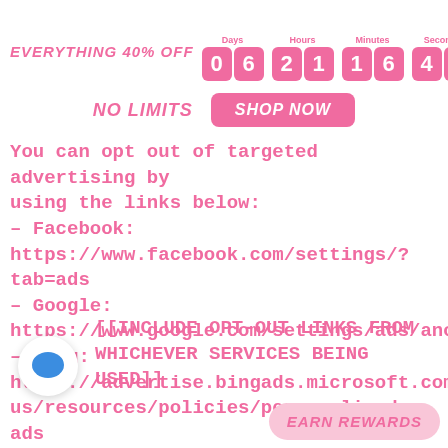EVERYTHING 40% OFF  Days 06  Hours 21  Minutes 16  Seconds 42
NO LIMITS   SHOP NOW
You can opt out of targeted advertising by using the links below:
- Facebook:
https://www.facebook.com/settings/?tab=ads
- Google:
https://www.google.com/settings/ads/anonymo...
- Bing:
https://advertise.bingads.microsoft.com/en-us/resources/policies/personalized-ads
[[INCLUDE OPT-OUT LINKS FROM WHICHEVER SERVICES BEING USED]]
[Figure (illustration): Blue chat bubble icon in a white circle with drop shadow]
EARN REWARDS